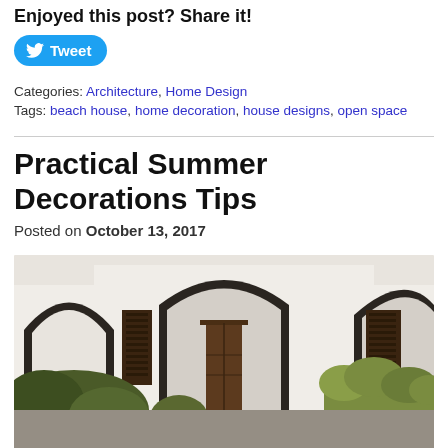Enjoyed this post? Share it!
[Figure (other): Tweet button with Twitter bird icon]
Categories: Architecture, Home Design
Tags: beach house, home decoration, house designs, open space
Practical Summer Decorations Tips
Posted on October 13, 2017
[Figure (photo): Exterior photo of a white Mediterranean-style building with arched doorways, dark wooden shutters, and green shrubs in the foreground]